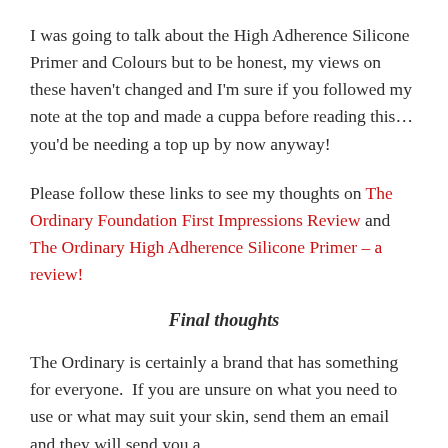I was going to talk about the High Adherence Silicone Primer and Colours but to be honest, my views on these haven't changed and I'm sure if you followed my note at the top and made a cuppa before reading this…you'd be needing a top up by now anyway!
Please follow these links to see my thoughts on The Ordinary Foundation First Impressions Review and The Ordinary High Adherence Silicone Primer – a review!
Final thoughts
The Ordinary is certainly a brand that has something for everyone.  If you are unsure on what you need to use or what may suit your skin, send them an email and they will send you a